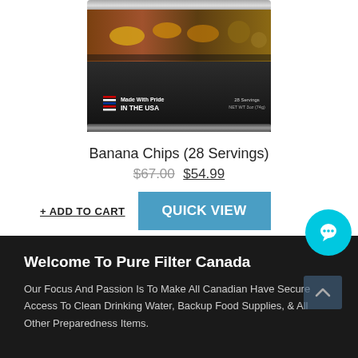[Figure (photo): Bottom portion of a cylindrical food product can (Banana Chips, 28 Servings) with dark label, showing food imagery and 'Made With Pride IN THE USA' text with flag graphic]
Banana Chips (28 Servings)
$67.00 $54.99
+ ADD TO CART   QUICK VIEW
Welcome To Pure Filter Canada
Our Focus And Passion Is To Make All Canadian Have Secure Access To Clean Drinking Water, Backup Food Supplies, & All Other Preparedness Items.